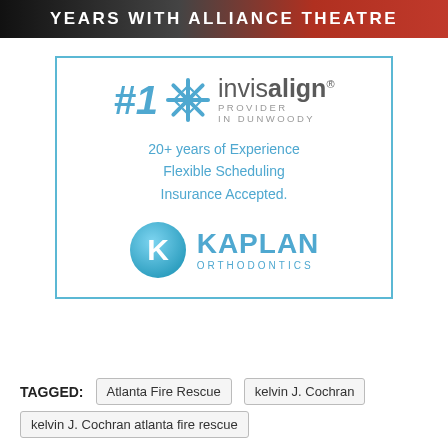[Figure (illustration): Banner at top with text 'YEARS WITH ALLIANCE THEATRE' on dark red/black gradient background]
[Figure (logo): Kaplan Orthodontics advertisement: #1 Invisalign Provider in Dunwoody. 20+ years of Experience, Flexible Scheduling, Insurance Accepted. Kaplan Orthodontics logo with K in blue circle.]
TAGGED: Atlanta Fire Rescue  kelvin J. Cochran  kelvin J. Cochran atlanta fire rescue